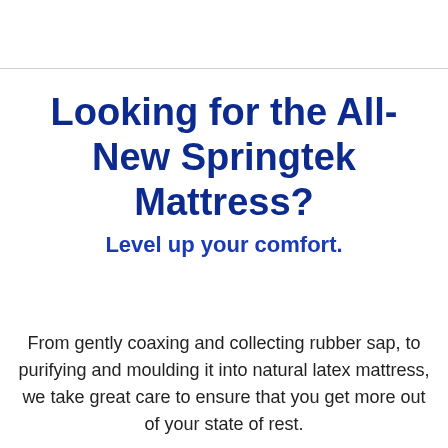Looking for the All-New Springtek Mattress?
Level up your comfort.
From gently coaxing and collecting rubber sap, to purifying and moulding it into natural latex mattress, we take great care to ensure that you get more out of your state of rest.